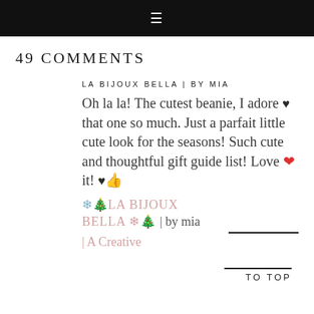≡
49 COMMENTS
LA BIJOUX BELLA | BY MIA
Oh la la! The cutest beanie, I adore ♥ that one so much. Just a parfait little cute look for the seasons! Such cute and thoughtful gift guide list! Love ❤ it! ♥👍
TO TOP
❄🌲LA BIJOUX BELLA ❄🌲 | by mia | A Creative